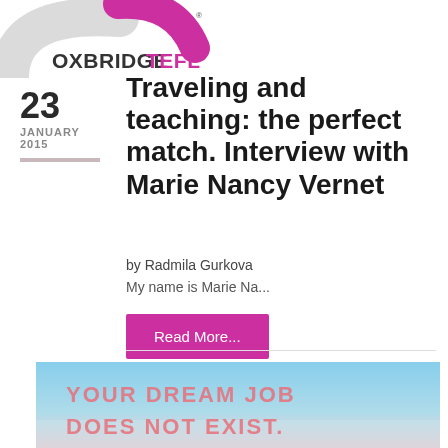OXBRIDGETEFL
23
JANUARY 2015
Traveling and teaching: the perfect match. Interview with Marie Nancy Vernet
by Radmila Gurkova
My name is Marie Na...
Read More...
[Figure (photo): Image with text overlay 'YOUR DREAM JOB DOES NOT EXIST.' on a scenic blue-sky background]